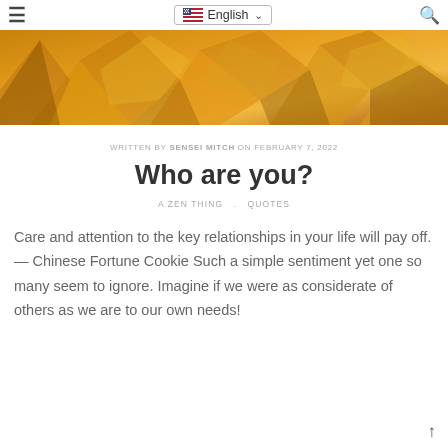≡  🇺🇸 English ∨  🔍
[Figure (photo): Close-up of golden/orange abstract decorative objects on a dark background, used as a hero banner image.]
WRITTEN BY SENSEI MITCH ON FEBRUARY 7, 2022
Who are you?
A ZEN THING   .   QUOTES
Care and attention to the key relationships in your life will pay off. — Chinese Fortune Cookie Such a simple sentiment yet one so many seem to ignore. Imagine if we were as considerate of others as we are to our own needs!